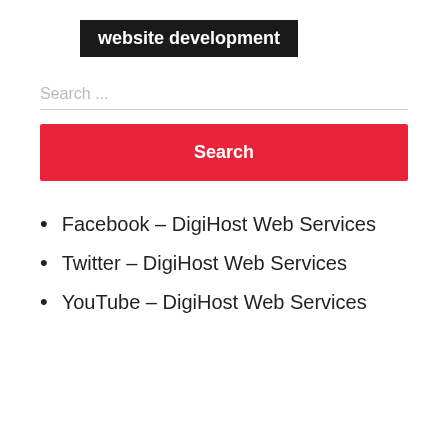website development
Search ...
Search
Facebook – DigiHost Web Services
Twitter – DigiHost Web Services
YouTube – DigiHost Web Services